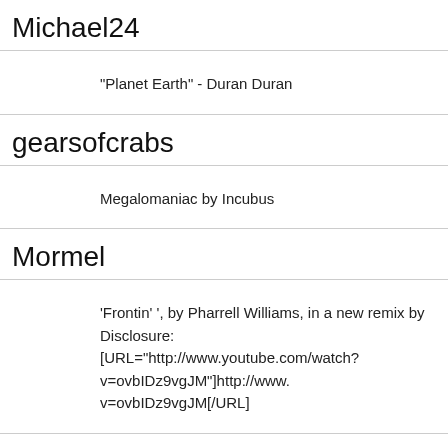Michael24
"Planet Earth" - Duran Duran
gearsofcrabs
Megalomaniac by Incubus
Mormel
'Frontin' ', by Pharrell Williams, in a new remix by Disclosure: [URL="http://www.youtube.com/watch?v=ovbIDz9vgJM"]http://www. v=ovbIDz9vgJM[/URL]
Maven
[b][url=http://www.youtube.com/watch?v=yk0Is8-gGSQ]"Little Neutri